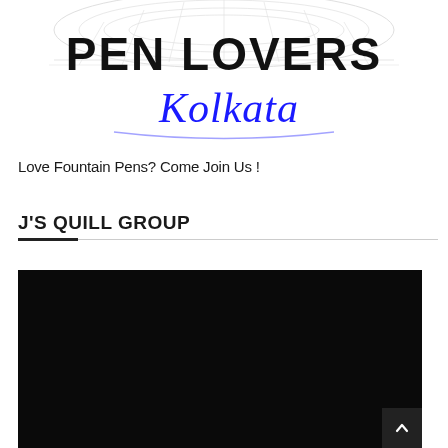[Figure (logo): Pen Lovers Kolkata logo with decorative mandala/dome background graphic. 'PEN LOVERS' in bold black block letters, 'Kolkata' in cursive blue script below.]
Love Fountain Pens? Come Join Us !
J'S QUILL GROUP
[Figure (photo): Large black/dark image area, content not visible (dark/unloaded media).]